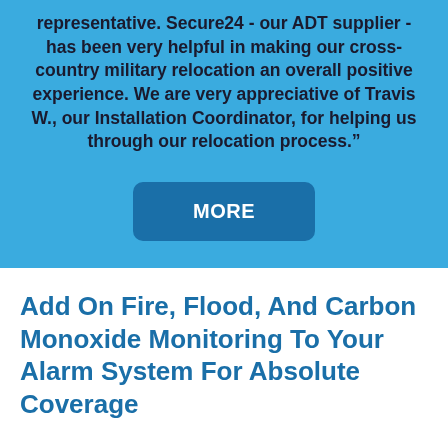representative. Secure24 - our ADT supplier - has been very helpful in making our cross-country military relocation an overall positive experience. We are very appreciative of Travis W., our Installation Coordinator, for helping us through our relocation process."
[Figure (other): A dark blue rounded rectangle button labeled MORE in bold white text]
Add On Fire, Flood, And Carbon Monoxide Monitoring To Your Alarm System For Absolute Coverage